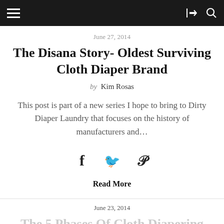[Navigation bar with hamburger menu, share icon, search icon]
June 27, 2014
The Disana Story- Oldest Surviving Cloth Diaper Brand
by Kim Rosas
This post is part of a new series I hope to bring to Dirty Diaper Laundry that focuses on the history of manufacturers and…
[Figure (other): Social share icons: Facebook (f), Twitter (bird), Pinterest (P)]
Read More
June 23, 2014
The 5 Phases Of Cloth Diapering
by Kim Rosas